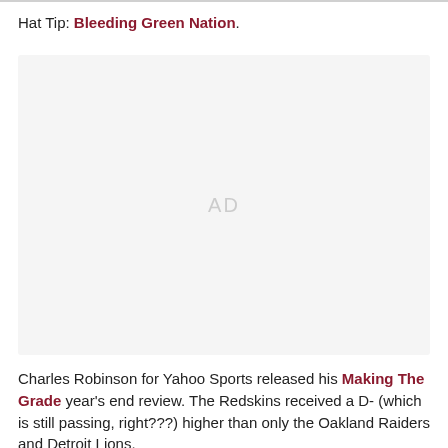Hat Tip: Bleeding Green Nation.
[Figure (other): Advertisement placeholder box with 'AD' label in light gray]
Charles Robinson for Yahoo Sports released his Making The Grade year's end review. The Redskins received a D- (which is still passing, right???) higher than only the Oakland Raiders and Detroit Lions.